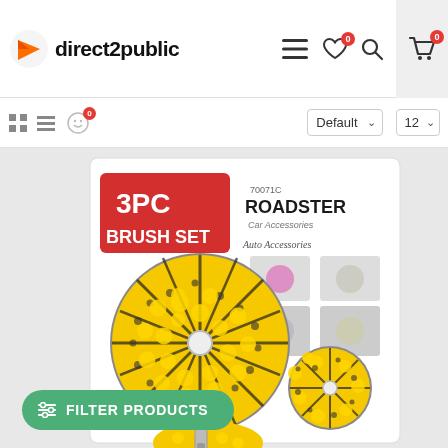direct2public — navigation header with logo, hamburger menu, wishlist (0), search, and cart (0) icons
[Figure (screenshot): Website toolbar showing grid/list view toggle icons, a face/emoji icon with badge 0, Default sort dropdown, and 12 per page dropdown]
[Figure (photo): Product photo: 3PC Brush Set by Roadster Car Accessories. Shows two yellow and black drill brush attachments in plastic packaging with product images on the right side.]
FILTER PRODUCTS